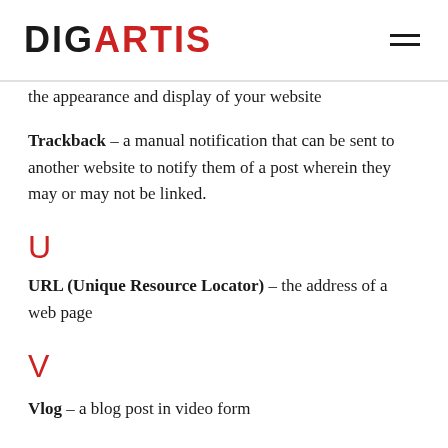DIGARTIS
the appearance and display of your website
Trackback – a manual notification that can be sent to another website to notify them of a post wherein they may or may not be linked.
U
URL (Unique Resource Locator) – the address of a web page
V
Vlog – a blog post in video form